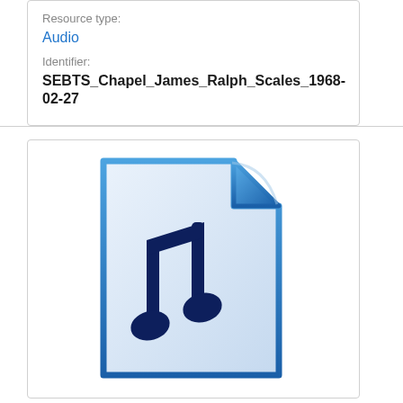Resource type:
Audio
Identifier:
SEBTS_Chapel_James_Ralph_Scales_1968-02-27
[Figure (illustration): Audio file icon — a document with a folded top-right corner in blue, containing a dark navy musical note symbol on a light blue/white gradient background.]